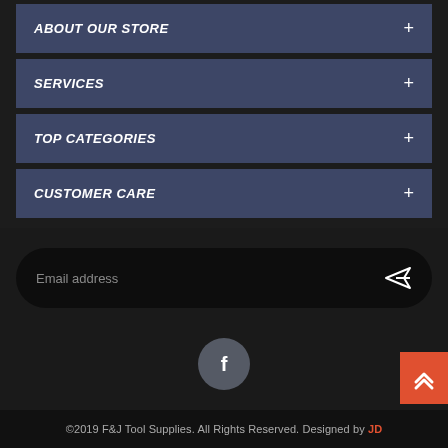ABOUT OUR STORE
SERVICES
TOP CATEGORIES
CUSTOMER CARE
Email address
[Figure (illustration): Facebook circular social media icon button, grey background]
[Figure (illustration): Orange scroll-to-top button with double chevron up arrows]
©2019 F&J Tool Supplies. All Rights Reserved. Designed by JD